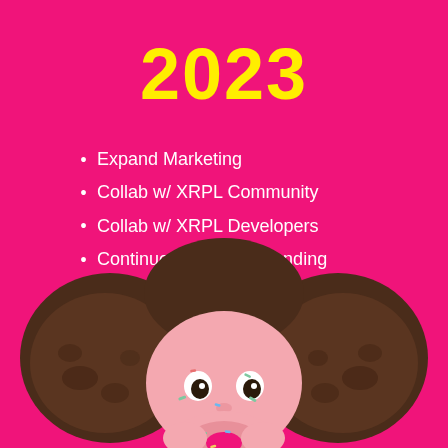2023
Expand Marketing
Collab w/ XRPL Community
Collab w/ XRPL Developers
Continuous xMochi Branding
Airdrop Series no. 2 for xMochiDonuts Hodlers
[Figure (illustration): Anime-style cartoon girl with dark brown bun pigtails, pink face with sprinkle freckles, holding a pink donut, peeking from the bottom of the frame against a hot pink background.]